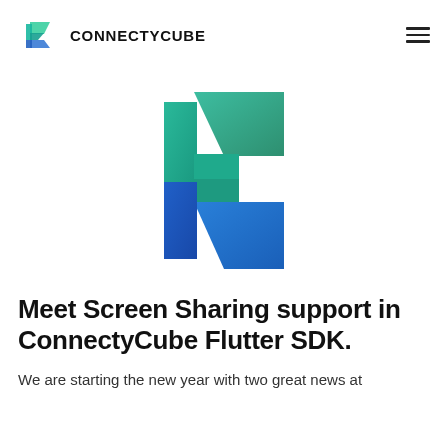CONNECTYCUBE
[Figure (logo): Large ConnectyCube logo — a stylized letter C shape composed of geometric facets in teal/green (top) and blue (bottom), 3D-looking with gradient shading.]
Meet Screen Sharing support in ConnectyCube Flutter SDK.
We are starting the new year with two great news at